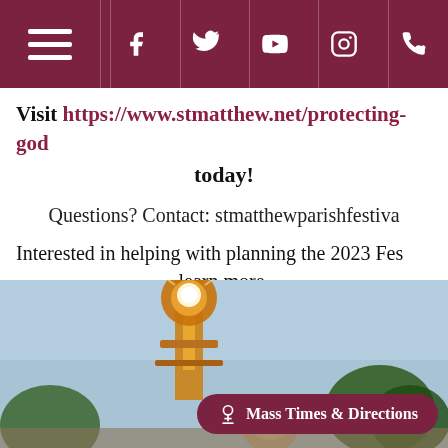Navigation bar with hamburger menu and social icons: Facebook, Twitter, YouTube, Instagram, Phone
Visit https://www.stmatthew.net/protecting-god today!
Questions? Contact: stmatthewparishfestiva
Interested in helping with planning the 2023 Fes learn more.
[Figure (photo): Outdoor photo showing a decorated float or structure with bright lights against a blue sky, person visible in foreground, with a 'Mass Times & Directions' button overlay]